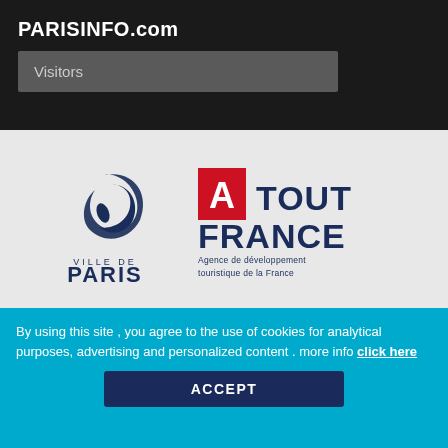PARISINFO.com
Visitors
[Figure (logo): Ville de Paris logo — circular leaf/wave emblem above text VILLE DE PARIS in dark navy blue]
[Figure (logo): Atout France logo — red square with white letter A, followed by TOUT / FRANCE in dark blue, and subtitle Agence de développement touristique de la France]
Our welcome centres | Espace Emploi | Contact us
| Legal Information and personal data
By using this site , you agree to the use of cookies for analytical purposes, advertising and personalized content . more info click here
ACCEPT